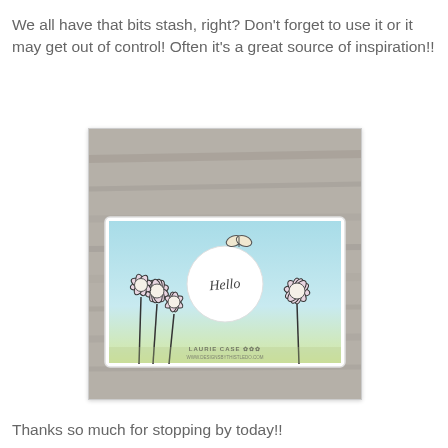We all have that bits stash, right? Don't forget to use it or it may get out of control! Often it's a great source of inspiration!!
[Figure (photo): A handmade greeting card featuring daisy/echinacea flowers in black outline with light purple/pink coloring, a butterfly, and a circular 'Hello' sentiment, set against a blue-to-yellow gradient background. The card is photographed on a rustic wooden surface. Credit: LAURIE CASE, www.designsbythistledo.com]
Thanks so much for stopping by today!!